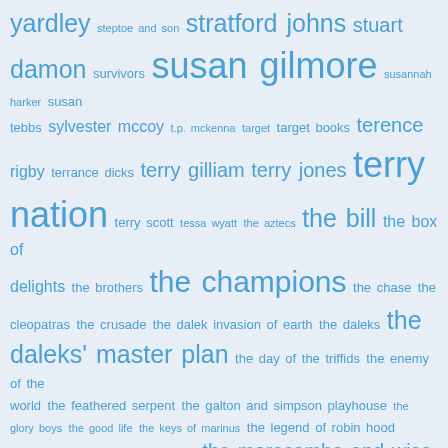[Figure (infographic): Tag cloud of British television and media related terms in various blue font sizes on a light blue/grey background. Terms include: yardley, steptoe and son, stratford johns, stuart damon, survivors, susan gilmore, susannah harker, susan tebbs, sylvester mccoy, t.p. mckenna, target, target books, terence rigby, terrance dicks, terry gilliam, terry jones, terry nation, terry scott, tessa wyatt, the aztecs, the bill, the box of delights, the brothers, the champions, the chase, the cleopatras, the crusade, the dalek invasion of earth, the daleks, the daleks' master plan, the day of the triffids, the enemy of the world, the feathered serpent, the galton and simpson playhouse, the glory boys, the good life, the keys of marinus, the legend of robin hood, the main chance, the massacre, the morecambe and wise show, the mrs merton show, the myth makers, the nightmare man, the quatermass experiment, the reign of terror, the rivals of sherlock holmes, the romans, the saint, the sandbaggers, the Sensorites, the space museum, the strange world of gurney slade, the talons of weng-chiang, the three musketeers, the time meddler, the trial of a timelord, the two ronnies, the web of fear, the web planet, the wheeltappers and shunters social club, thorley walters, tinker tailor soldier spy, tom baker, tom fleming, tonight at 8:30]